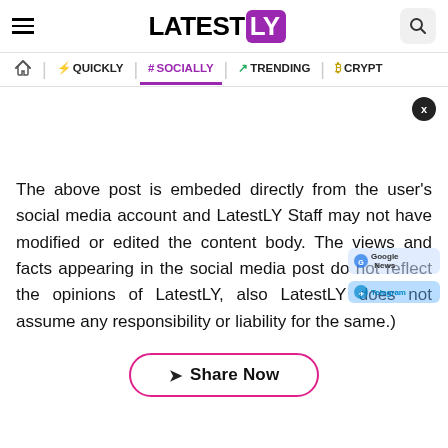LATESTLY
Home | QUICKLY | # SOCIALLY | TRENDING | CRYPTO
The above post is embeded directly from the user's social media account and LatestLY Staff may not have modified or edited the content body. The views and facts appearing in the social media post do not reflect the opinions of LatestLY, also LatestLY does not assume any responsibility or liability for the same.)
Share Now